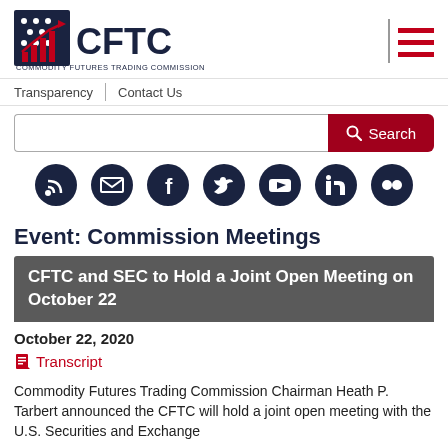[Figure (logo): CFTC - Commodity Futures Trading Commission logo with stars and bar chart icon]
Transparency | Contact Us
Search
[Figure (infographic): Social media icons: RSS, Email, Facebook, Twitter, YouTube, LinkedIn, Flickr]
Event: Commission Meetings
CFTC and SEC to Hold a Joint Open Meeting on October 22
October 22, 2020
Transcript
Commodity Futures Trading Commission Chairman Heath P. Tarbert announced the CFTC will hold a joint open meeting with the U.S. Securities and Exchange